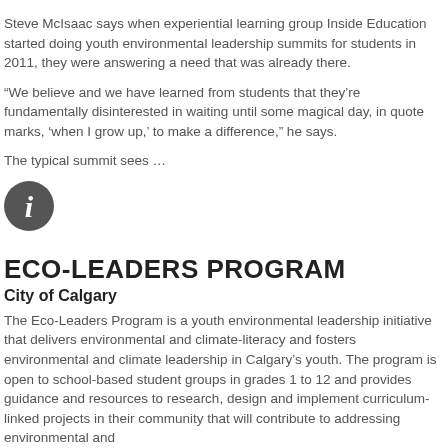Steve McIsaac says when experiential learning group Inside Education started doing youth environmental leadership summits for students in 2011, they were answering a need that was already there.
“We believe and we have learned from students that they’re fundamentally disinterested in waiting until some magical day, in quote marks, ‘when I grow up,’ to make a difference,” he says.
The typical summit sees …
[Figure (infographic): A circular info icon — dark grey circle with white italic letter 'i' in the center]
ECO-LEADERS PROGRAM
City of Calgary
The Eco-Leaders Program is a youth environmental leadership initiative that delivers environmental and climate-literacy and fosters environmental and climate leadership in Calgary’s youth. The program is open to school-based student groups in grades 1 to 12 and provides guidance and resources to research, design and implement curriculum-linked projects in their community that will contribute to addressing environmental and